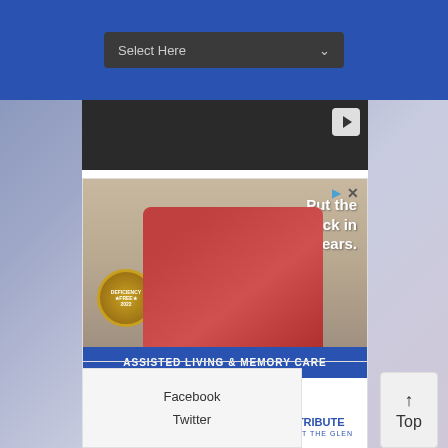[Figure (screenshot): Select Here dropdown input on blue header bar]
[Figure (screenshot): Dark video player area with play button]
[Figure (screenshot): Advertisement for Tribute at the Glen assisted living: image of older woman with cat, deficiency-free badge, text 'Put the golden back in golden years.', blue banner 'ASSISTED LIVING & MEMORY CARE', explore senior living options, Schedule a Tour button, and Tribute logo]
Facebook
Twitter
Top